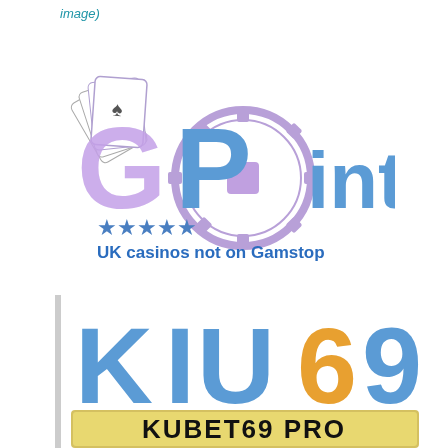image)
[Figure (logo): GPoint casino logo with playing cards and poker chip, purple and blue gradient text reading 'GPoint', five blue stars, and text 'UK casinos not on Gamstop']
[Figure (logo): KIU69 logo in blue and orange/gold large letters, with 'KUBET69 PRO' text on a gold banner below]